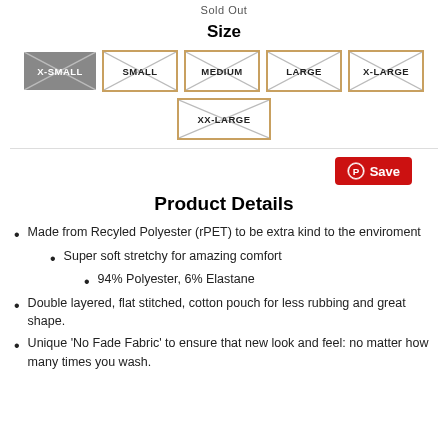Sold Out
Size
[Figure (other): Size selector buttons: X-SMALL (sold out, dark grey with X), SMALL, MEDIUM, LARGE, X-LARGE (available, orange border with X cross), and XX-LARGE (available, orange border with X cross)]
[Figure (other): Pinterest Save button in red]
Product Details
Made from Recyled Polyester (rPET) to be extra kind to the enviroment
Super soft stretchy for amazing comfort
94% Polyester, 6% Elastane
Double layered, flat stitched, cotton pouch for less rubbing and great shape.
Unique 'No Fade Fabric' to ensure that new look and feel: no matter how many times you wash.